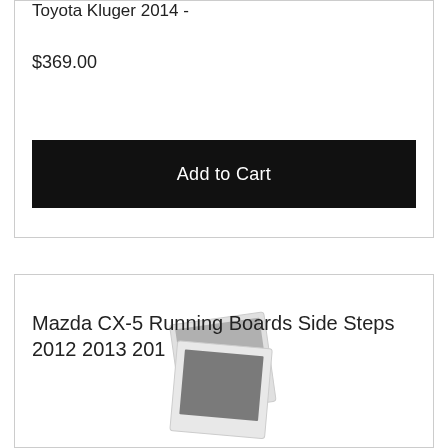Toyota Kluger 2014 -
$369.00
Add to Cart
[Figure (photo): Placeholder image icon showing two overlapping polaroid-style image frames in gray tones]
Mazda CX-5 Running Boards Side Steps 2012 2013 201